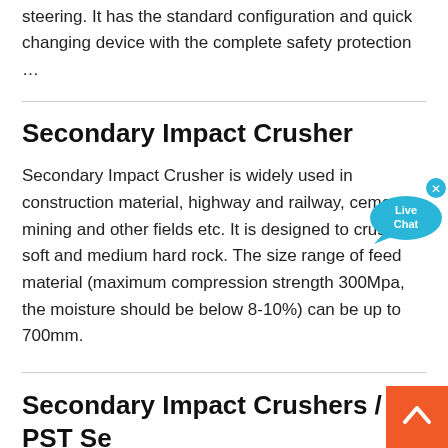steering. It has the standard configuration and quick changing device with the complete safety protection …
Secondary Impact Crusher
Secondary Impact Crusher is widely used in construction material, highway and railway, cement, mining and other fields etc. It is designed to crush soft and medium hard rock. The size range of feed material (maximum compression strength 300Mpa, the moisture should be below 8-10%) can be up to 700mm.
Secondary Impact Crushers / PST Se– Gayret Makina
Secondary Impact Crushers / PST Series. Our extensive